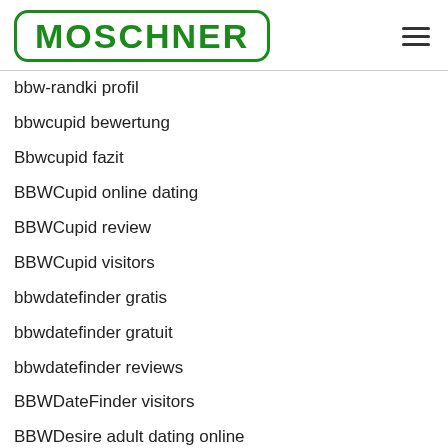[Figure (logo): MOSCHNER green logo with rounded rectangle border]
bbw-randki profil
bbwcupid bewertung
Bbwcupid fazit
BBWCupid online dating
BBWCupid review
BBWCupid visitors
bbwdatefinder gratis
bbwdatefinder gratuit
bbwdatefinder reviews
BBWDateFinder visitors
BBWDesire adult dating online
BBWDesire dating